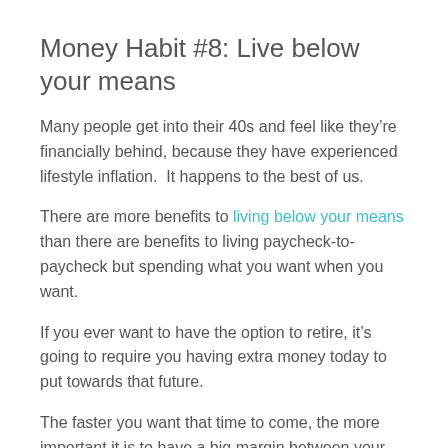Money Habit #8: Live below your means
Many people get into their 40s and feel like they’re financially behind, because they have experienced lifestyle inflation.  It happens to the best of us.
There are more benefits to living below your means than there are benefits to living paycheck-to-paycheck but spending what you want when you want.
If you ever want to have the option to retire, it’s going to require you having extra money today to put towards that future.
The faster you want that time to come, the more important it is to have a big margin between your income and expenses.